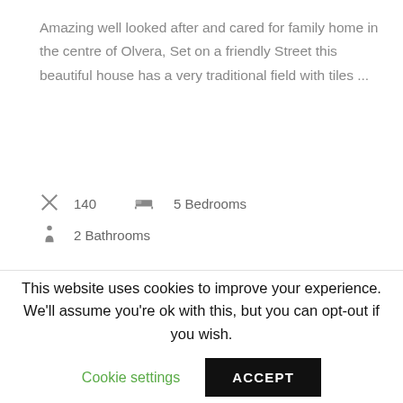Amazing well looked after and cared for family home in the centre of Olvera, Set on a friendly Street this beautiful house has a very traditional field with tiles ...
140   5 Bedrooms
2 Bathrooms
Agent: Zoé Males
View More Details
This website uses cookies to improve your experience. We'll assume you're ok with this, but you can opt-out if you wish.
Cookie settings
ACCEPT